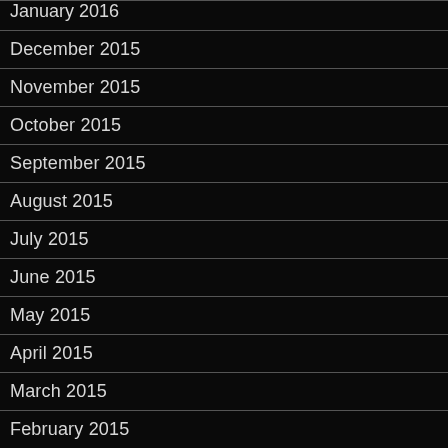January 2016
December 2015
November 2015
October 2015
September 2015
August 2015
July 2015
June 2015
May 2015
April 2015
March 2015
February 2015